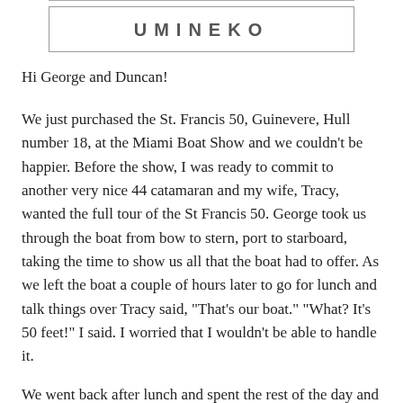[Figure (logo): UMINEKO logo text in a rectangular border box]
Hi George and Duncan!
We just purchased the St. Francis 50, Guinevere, Hull number 18, at the Miami Boat Show and we couldn't be happier. Before the show, I was ready to commit to another very nice 44 catamaran and my wife, Tracy, wanted the full tour of the St Francis 50. George took us through the boat from bow to stern, port to starboard, taking the time to show us all that the boat had to offer. As we left the boat a couple of hours later to go for lunch and talk things over Tracy said, "That's our boat." "What? It's 50 feet!" I said. I worried that I wouldn't be able to handle it.
We went back after lunch and spent the rest of the day and evening on the St. Francis...